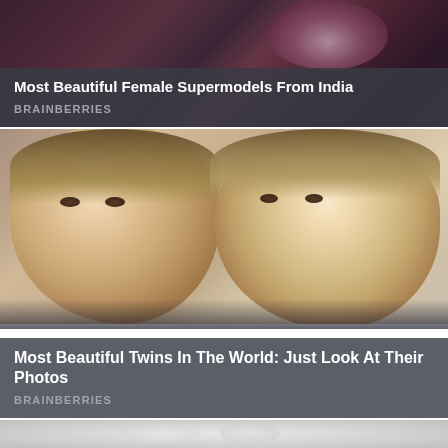[Figure (photo): Top card showing a photo with dark/purple tones of a female model, partially cropped]
Most Beautiful Female Supermodels From India
BRAINBERRIES
[Figure (photo): Photo of two young twin girls with straight brown hair looking at camera]
Most Beautiful Twins In The World: Just Look At Their Photos
BRAINBERRIES
[Figure (photo): Partial bottom card showing a light gray/white photo, mostly cropped]